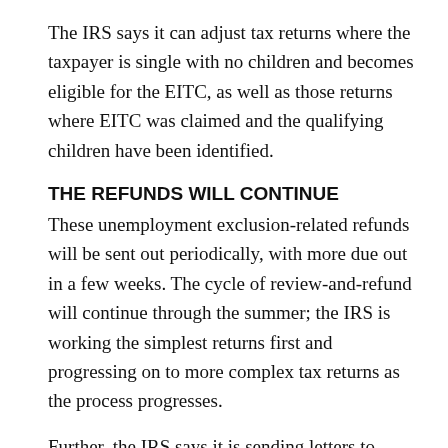The IRS says it can adjust tax returns where the taxpayer is single with no children and becomes eligible for the EITC, as well as those returns where EITC was claimed and the qualifying children have been identified.
THE REFUNDS WILL CONTINUE
These unemployment exclusion-related refunds will be sent out periodically, with more due out in a few weeks. The cycle of review-and-refund will continue through the summer; the IRS is working the simplest returns first and progressing on to more complex tax returns as the process progresses.
Further, the IRS says it is sending letters to